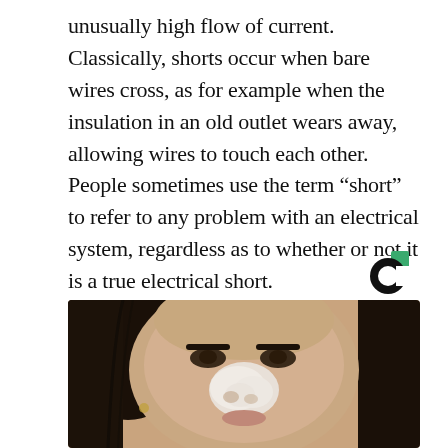unusually high flow of current. Classically, shorts occur when bare wires cross, as for example when the insulation in an old outlet wears away, allowing wires to touch each other. People sometimes use the term “short” to refer to any problem with an electrical system, regardless as to whether or not it is a true electrical short.
[Figure (logo): Circular logo with black ring and green square accent, resembling a 'C' shape]
[Figure (photo): Close-up photo of a young woman with dark hair applying a white face mask or cream to her nose area]